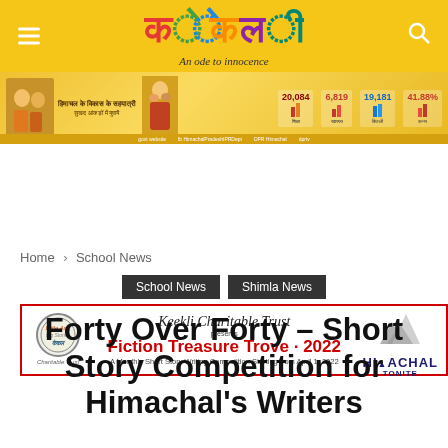Keekli — An ode to innocence
[Figure (infographic): Himachal Pradesh government advertisement banner with statistics and infographic data]
[Figure (infographic): Keekli Charitable Trust — Fiction Treasure Trove 2022 — A Monthly Short Story Writing Competition Starting from April 1, 2022 — Himachal Tonite]
Home › School News
School News   Shimla News
Forty Over Forty – Short Story Competition for Himachal's Writers